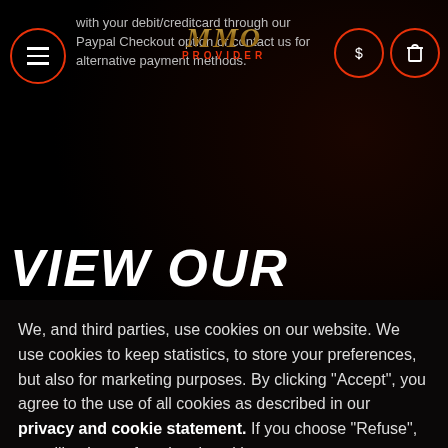with your debit/creditcard through our Paypal Checkout option or contact us for alternative payment methods.
[Figure (logo): MMO PROVIDER logo in gold/metallic lettering with red PROVIDER text below]
VIEW OUR
We, and third parties, use cookies on our website. We use cookies to keep statistics, to store your preferences, but also for marketing purposes. By clicking "Accept", you agree to the use of all cookies as described in our privacy and cookie statement. If you choose "Refuse", we will only use functional cookies.
ACCEPT
REFUSE